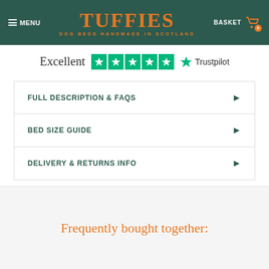MENU | TUFFIES DOG BEDS HANDMADE IN SCOTLAND | BASKET 0
[Figure (screenshot): Trustpilot Excellent 5-star rating logo with green stars and Trustpilot text]
FULL DESCRIPTION & FAQS
BED SIZE GUIDE
DELIVERY & RETURNS INFO
Frequently bought together: